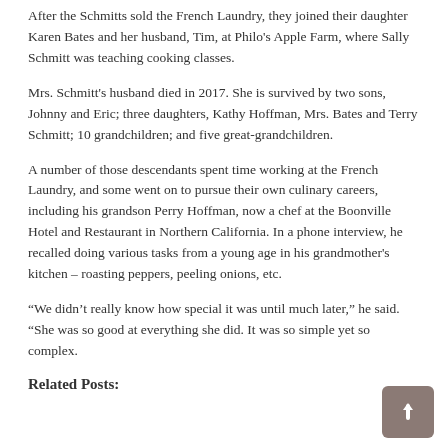After the Schmitts sold the French Laundry, they joined their daughter Karen Bates and her husband, Tim, at Philo's Apple Farm, where Sally Schmitt was teaching cooking classes.
Mrs. Schmitt's husband died in 2017. She is survived by two sons, Johnny and Eric; three daughters, Kathy Hoffman, Mrs. Bates and Terry Schmitt; 10 grandchildren; and five great-grandchildren.
A number of those descendants spent time working at the French Laundry, and some went on to pursue their own culinary careers, including his grandson Perry Hoffman, now a chef at the Boonville Hotel and Restaurant in Northern California. In a phone interview, he recalled doing various tasks from a young age in his grandmother's kitchen – roasting peppers, peeling onions, etc.
“We didn’t really know how special it was until much later,” he said. “She was so good at everything she did. It was so simple yet so complex.
Related Posts: